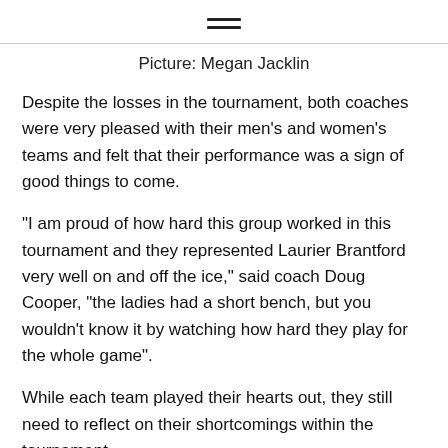hamburger menu icon
Picture: Megan Jacklin
Despite the losses in the tournament, both coaches were very pleased with their men's and women's teams and felt that their performance was a sign of good things to come.
“I am proud of how hard this group worked in this tournament and they represented Laurier Brantford very well on and off the ice,” said coach Doug Cooper, “the ladies had a short bench, but you wouldn’t know it by watching how hard they play for the whole game”.
While each team played their hearts out, they still need to reflect on their shortcomings within the tournament